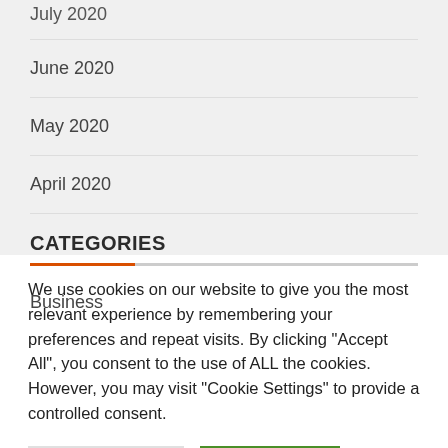July 2020
June 2020
May 2020
April 2020
CATEGORIES
Business
We use cookies on our website to give you the most relevant experience by remembering your preferences and repeat visits. By clicking "Accept All", you consent to the use of ALL the cookies. However, you may visit "Cookie Settings" to provide a controlled consent.
Cookie Settings | Accept All